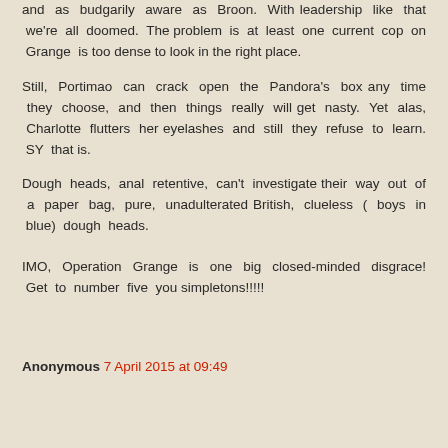and as budgarily aware as Broon. With leadership like that we're all doomed. The problem is at least one current cop on Grange is too dense to look in the right place.
Still, Portimao can crack open the Pandora's box any time they choose, and then things really will get nasty. Yet alas, Charlotte flutters her eyelashes and still they refuse to learn. SY that is.
Dough heads, anal retentive, can't investigate their way out of a paper bag, pure, unadulterated British, clueless ( boys in blue) dough heads.
IMO, Operation Grange is one big closed-minded disgrace! Get to number five you simpletons!!!!!
Anonymous 7 April 2015 at 09:49